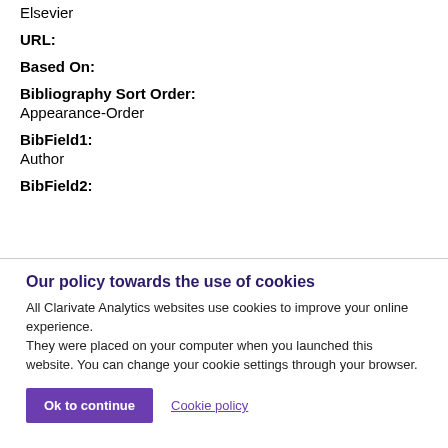Elsevier
URL:
Based On:
Bibliography Sort Order:
Appearance-Order
BibField1:
Author
BibField2:
Our policy towards the use of cookies
All Clarivate Analytics websites use cookies to improve your online experience.
They were placed on your computer when you launched this website. You can change your cookie settings through your browser.
Ok to continue
Cookie policy